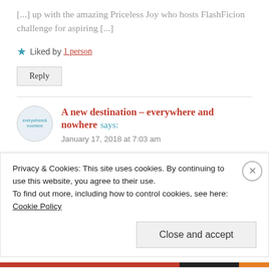[...] up with the amazing Priceless Joy who hosts FlashFicion challenge for aspiring [...]
Liked by 1 person
Reply
A new destination – everywhere and nowhere says:
January 17, 2018 at 7:03 am
[...] was written in response to this week's Flash Fiction
Privacy & Cookies: This site uses cookies. By continuing to use this website, you agree to their use.
To find out more, including how to control cookies, see here: Cookie Policy
Close and accept